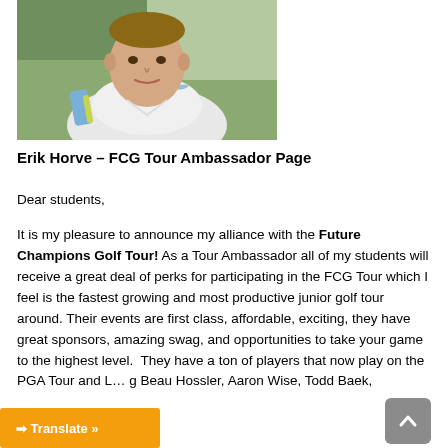[Figure (photo): Headshot photo of Erik Horve, a man in a white Nike polo shirt with blue/yellow accent stripes, outdoors with green foliage in background]
Erik Horve – FCG Tour Ambassador Page
Dear students,
It is my pleasure to announce my alliance with the Future Champions Golf Tour!  As a Tour Ambassador all of my students will receive a great deal of perks for participating in the FCG Tour which I feel is the fastest growing and most productive junior golf tour around. Their events are first class, affordable, exciting, they have great sponsors, amazing swag, and opportunities to take your game to the highest level.  They have a ton of players that now play on the PGA Tour and L... g Beau Hossler, Aaron Wise, Todd Baek,